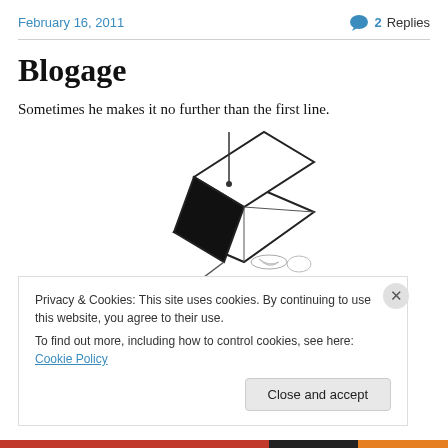February 16, 2011
2 Replies
Blogage
Sometimes he makes it no further than the first line.
[Figure (illustration): Black and white illustration of an academic mortarboard graduation cap tipped over on its side with a stick or string and a carrot underneath it, like a box trap.]
Privacy & Cookies: This site uses cookies. By continuing to use this website, you agree to their use. To find out more, including how to control cookies, see here: Cookie Policy
Close and accept